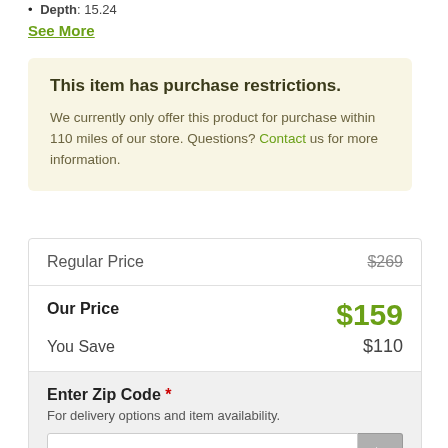Depth: 15.24
See More
This item has purchase restrictions.

We currently only offer this product for purchase within 110 miles of our store. Questions? Contact us for more information.
| Regular Price | $269 |
| Our Price | $159 |
| You Save | $110 |
Enter Zip Code *
For delivery options and item availability.